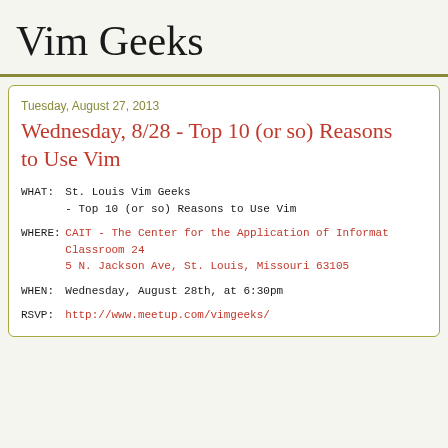Vim Geeks
Tuesday, August 27, 2013
Wednesday, 8/28 - Top 10 (or so) Reasons to Use Vim
WHAT:   St. Louis Vim Geeks
        - Top 10 (or so) Reasons to Use Vim

WHERE:  CAIT - The Center for the Application of Informat
        Classroom 24
        5 N. Jackson Ave, St. Louis, Missouri 63105

WHEN:   Wednesday, August 28th, at 6:30pm

RSVP:   http://www.meetup.com/vimgeeks/